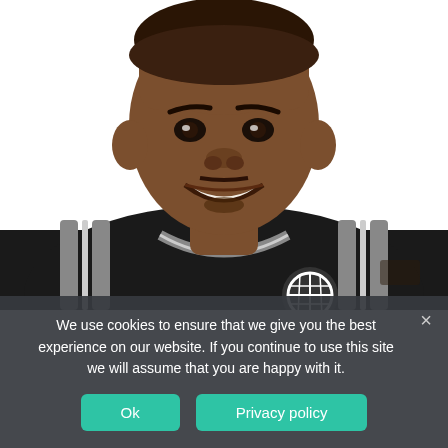[Figure (photo): Headshot of a smiling young male basketball player wearing a black Brooklyn Nets jersey with white and grey striping, photographed against a white background.]
We use cookies to ensure that we give you the best experience on our website. If you continue to use this site we will assume that you are happy with it.
Ok
Privacy policy